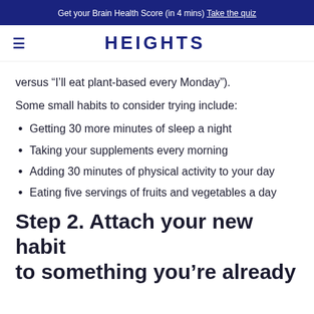Get your Brain Health Score (in 4 mins) Take the quiz
HEIGHTS
versus “I’ll eat plant-based every Monday”).
Some small habits to consider trying include:
Getting 30 more minutes of sleep a night
Taking your supplements every morning
Adding 30 minutes of physical activity to your day
Eating five servings of fruits and vegetables a day
Step 2. Attach your new habit to something you’re already